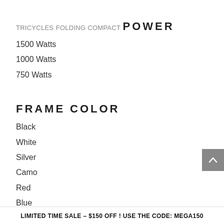TRICYCLES
FOLDING COMPACT
POWER
1500 Watts
1000 Watts
750 Watts
FRAME COLOR
Black
White
Silver
Camo
Red
Blue
LIMITED TIME SALE – $150 OFF ! USE THE CODE: MEGA150